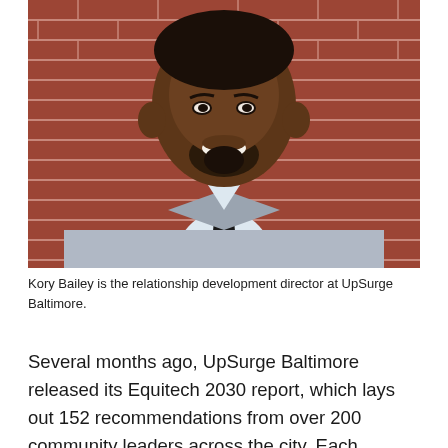[Figure (photo): Professional headshot of Kory Bailey, a Black man wearing a light gray suit with a white dress shirt and black tie, smiling in front of a red brick wall background.]
Kory Bailey is the relationship development director at UpSurge Baltimore.
Several months ago, UpSurge Baltimore released its Equitech 2030 report, which lays out 152 recommendations from over 200 community leaders across the city. Each recommendation is